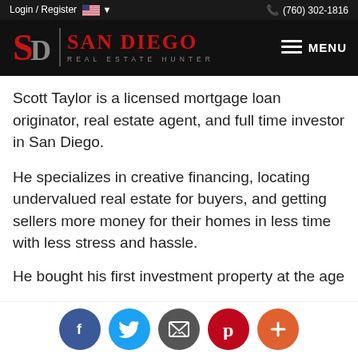Login / Register    (760) 302-1816
[Figure (logo): San Diego Real Estate Hunter logo with SD monogram in red on black background]
Scott Taylor is a licensed mortgage loan originator, real estate agent, and full time investor in San Diego.
He specializes in creative financing, locating undervalued real estate for buyers, and getting sellers more money for their homes in less time with less stress and hassle.
He bought his first investment property at the age
[Figure (infographic): Social sharing buttons: Facebook (blue), Twitter (light blue), Email (dark gray), Pinterest (dark red), Plus/More (orange-red)]